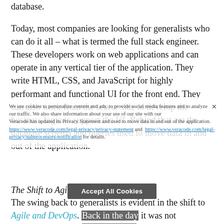database.
Today, most companies are looking for generalists who can do it all – what is termed the full stack engineer. These developers work on web applications and can operate in any vertical tier of the application. They write HTML, CSS, and JavaScript for highly performant and functional UI for the front end. They can also work from the server side to develop the business logic to support the UI. Behind that are the database schema and queries used to move data in and out of the application.
The Shift to Agile and DevOps.
The swing back to generalists is evident in the shift to Agile and DevOps. Back in the day it was not uncommon to have 50+ person teams building applications using the Waterfall methodology. From